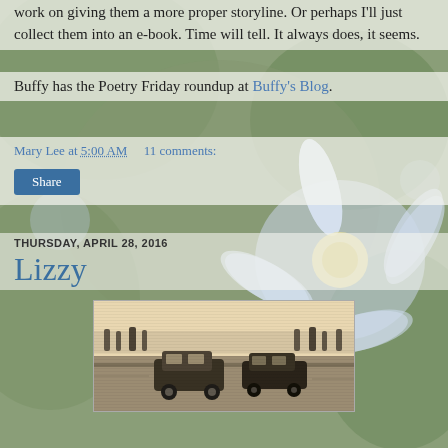work on giving them a more proper storyline. Or perhaps I'll just collect them into an e-book. Time will tell. It always does, it seems.
Buffy has the Poetry Friday roundup at Buffy's Blog.
Mary Lee at 5:00 AM    11 comments:
Share
THURSDAY, APRIL 28, 2016
Lizzy
[Figure (photo): Old black-and-white photograph showing a motorcade or street scene with cars and people, sepia-toned, partially visible at bottom of page.]